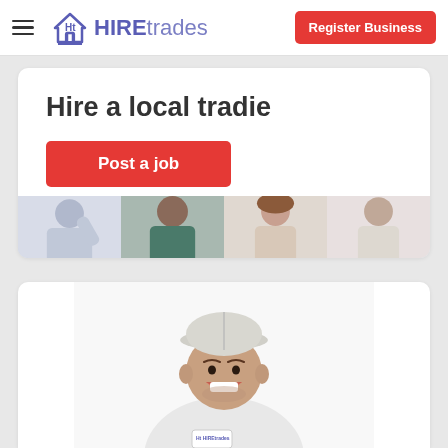HIREtrades — Register Business
Hire a local tradie
Post a job
[Figure (photo): Hero banner with photos of smiling tradespeople and homeowners in a strip across the bottom of the hero card]
[Figure (photo): Smiling young man wearing a white cap and white HIREtrades polo shirt, portrait photo on white background]